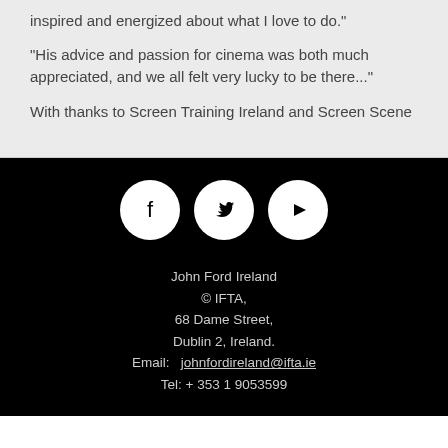inspired and energized about what I love to do."
"His advice and passion for cinema was both much appreciated, and we all felt very lucky to be there..."
With thanks to Screen Training Ireland and Screen Scene
John Ford Ireland
© IFTA,
68 Dame Street,
Dublin 2, Ireland.
Email:   johnfordireland@ifta.ie
Tel: + 353 1 9053599